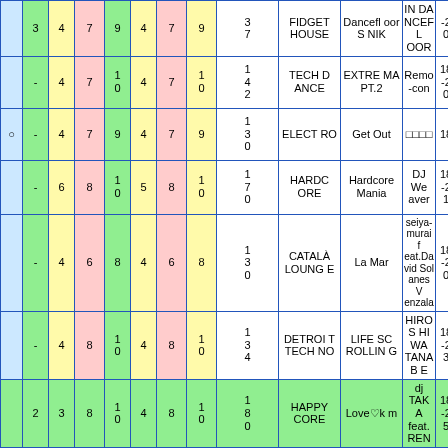|  | 3 | 4 | 7 | 9 | 4 | 7 | 9 | 37 | FIDGET HOUSE | Dancefloor S NIK | IN DA NCEFL OOR | -20 | - |
|  | - | 4 | 7 | 10 | 4 | 7 | 10 | 142 | TECH D ANCE | EXTRE MA PT.2 | Remo-con | 18-20 | - |
| ○ | - | 4 | 7 | 9 | 4 | 7 | 9 | 130 | ELECT RO | Get Out | □□□□ | 18 | - |
|  | - | 6 | 8 | 10 | 5 | 8 | 10 | 170 | HARDC ORE | Hardcore Mania | DJ We aver | 18-21 | IN F |
|  | - | 4 | 6 | 8 | 4 | 6 | 8 | 130 | CATALÀ LOUNGE | La Mar | seiya-murai feat.David Sol anes V enzala | 18-20 | - |
|  | - | 4 | 8 | 10 | 4 | 8 | 10 | 134 | DETROIT TECH NO | LIFE SC ROLLIN G | HIROS HI WA TANAB E | 18-23 | - |
|  | 2 | 3 | 8 | 10 | 4 | 8 | 10 | 180 | HAPPY CORE | Love♡k m | dj TAK A feat. REN | 18-25 | IN F |
|  | - | 6 | 1 | 1 | 6 | 1 | 1 | 120- | DYSTO | New Cas tle Legio | Dirty A | 18-2 | IN |